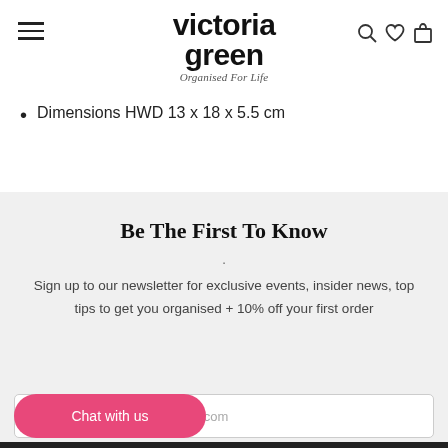victoria green — Organised For Life
Dimensions HWD 13 x 18 x 5.5 cm
Be The First To Know
Sign up to our newsletter for exclusive events, insider news, top tips to get you organised + 10% off your first order
Chat with us
e.com